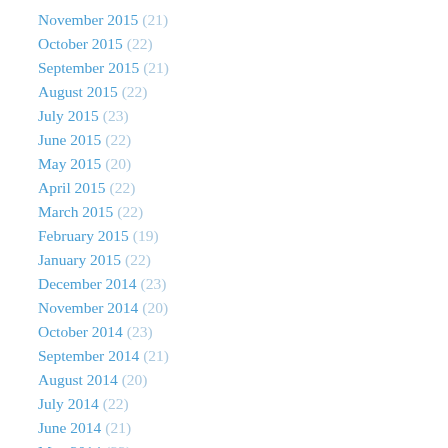November 2015 (21)
October 2015 (22)
September 2015 (21)
August 2015 (22)
July 2015 (23)
June 2015 (22)
May 2015 (20)
April 2015 (22)
March 2015 (22)
February 2015 (19)
January 2015 (22)
December 2014 (23)
November 2014 (20)
October 2014 (23)
September 2014 (21)
August 2014 (20)
July 2014 (22)
June 2014 (21)
May 2014 (22)
April 2014 (21)